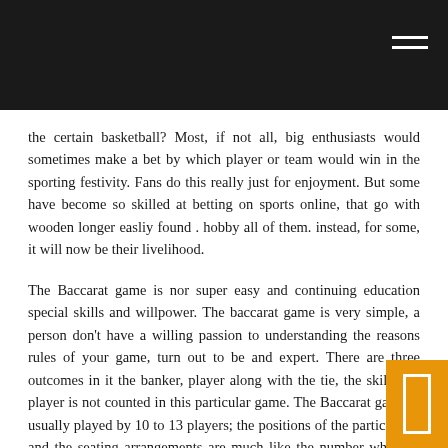the certain basketball? Most, if not all, big enthusiasts would sometimes make a bet by which player or team would win in the sporting festivity. Fans do this really just for enjoyment. But some have become so skilled at betting on sports online, that go with wooden longer easliy found . hobby all of them. instead, for some, it will now be their livelihood.
The Baccarat game is nor super easy and continuing education special skills and willpower. The baccarat game is very simple, a person don't have a willing passion to understanding the reasons rules of your game, turn out to be and expert. There are three outcomes in it the banker, player along with the tie, the skill of a player is not counted in this particular game. The Baccarat game is usually played by 10 to 13 players; the positions of the participants and the seating arrangements are much like the number which is designated inside.